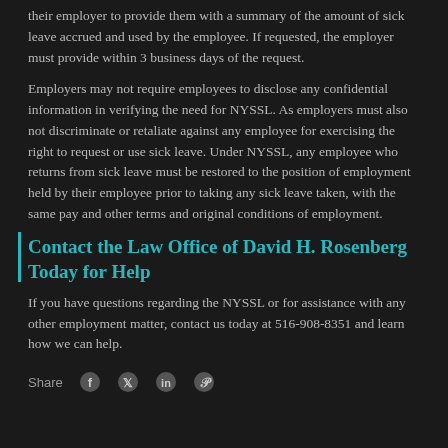their employer to provide them with a summary of the amount of sick leave accrued and used by the employee. If requested, the employer must provide within 3 business days of the request.
Employers may not require employees to disclose any confidential information in verifying the need for NYSSL. As employers must also not discriminate or retaliate against any employee for exercising the right to request or use sick leave. Under NYSSL, any employee who returns from sick leave must be restored to the position of employment held by their employee prior to taking any sick leave taken, with the same pay and other terms and original conditions of employment.
Contact the Law Office of David H. Rosenberg Today for Help
If you have questions regarding the NYSSL or for assistance with any other employment matter, contact us today at 516-908-8351 and learn how we can help.
Share